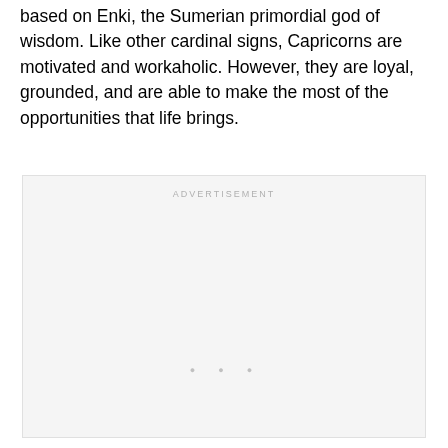based on Enki, the Sumerian primordial god of wisdom. Like other cardinal signs, Capricorns are motivated and workaholic. However, they are loyal, grounded, and are able to make the most of the opportunities that life brings.
[Figure (other): Advertisement placeholder box with 'ADVERTISEMENT' label at top and three small dots near the bottom center]